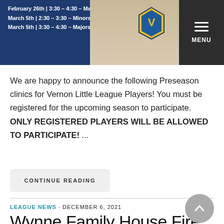[Figure (screenshot): Website banner with dark navy background showing clinic schedule dates and times, a baseball/V logo badge, and a dark menu button with hamburger icon labeled MENU]
We are happy to announce the following Preseason clinics for Vernon Little League Players! You must be registered for the upcoming season to participate. ONLY REGISTERED PLAYERS WILL BE ALLOWED TO PARTICIPATE! ...
CONTINUE READING
LEAGUE NEWS · DECEMBER 6, 2021
Wynne Family House Fire